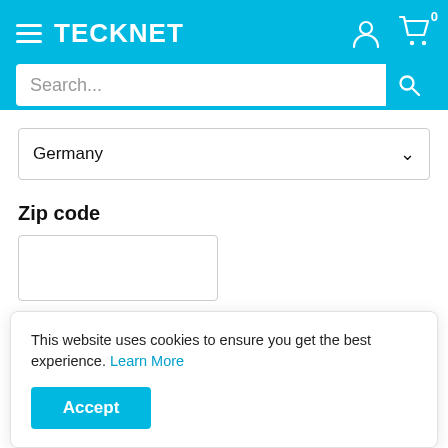TECKNET
Search...
Germany
Zip code
Estimate
This website uses cookies to ensure you get the best experience. Learn More
Accept